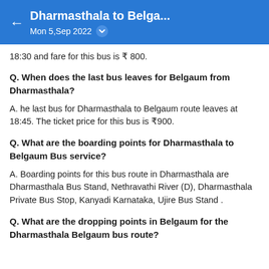Dharmasthala to Belga... Mon 5,Sep 2022
18:30 and fare for this bus is ₹ 800.
Q. When does the last bus leaves for Belgaum from Dharmasthala?
A. he last bus for Dharmasthala to Belgaum route leaves at 18:45. The ticket price for this bus is ₹900.
Q. What are the boarding points for Dharmasthala to Belgaum Bus service?
A. Boarding points for this bus route in Dharmasthala are Dharmasthala Bus Stand, Nethravathi River (D), Dharmasthala Private Bus Stop, Kanyadi Karnataka, Ujire Bus Stand .
Q. What are the dropping points in Belgaum for the Dharmasthala Belgaum bus route?